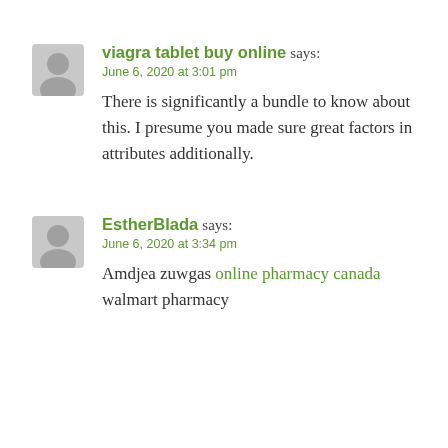viagra tablet buy online says:
June 6, 2020 at 3:01 pm

There is significantly a bundle to know about this. I presume you made sure great factors in attributes additionally.
EstherBlada says:
June 6, 2020 at 3:34 pm

Amdjea zuwgas online pharmacy canada walmart pharmacy